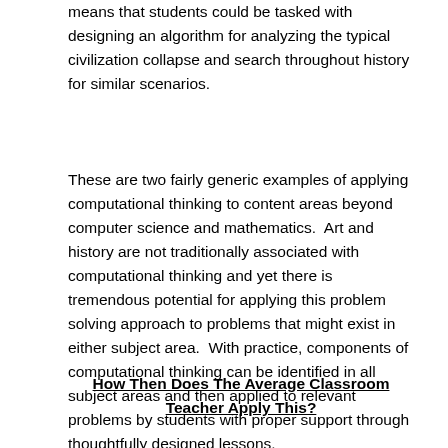means that students could be tasked with designing an algorithm for analyzing the typical civilization collapse and search throughout history for similar scenarios.
These are two fairly generic examples of applying computational thinking to content areas beyond computer science and mathematics.  Art and history are not traditionally associated with computational thinking and yet there is tremendous potential for applying this problem solving approach to problems that might exist in either subject area.  With practice, components of computational thinking can be identified in all subject areas and then applied to relevant problems by students with proper support through thoughtfully designed lessons.
How Then Does The Average Classroom Teacher Apply This?